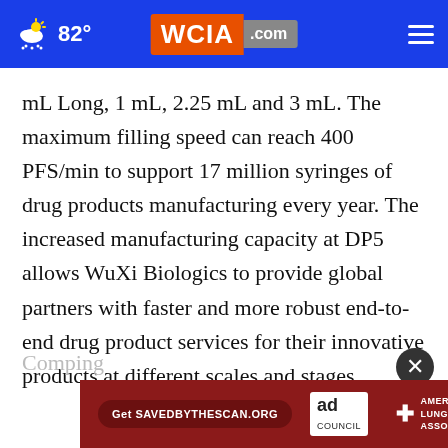82° WCIA.com
mL Long, 1 mL, 2.25 mL and 3 mL. The maximum filling speed can reach 400 PFS/min to support 17 million syringes of drug products manufacturing every year. The increased manufacturing capacity at DP5 allows WuXi Biologics to provide global partners with faster and more robust end-to-end drug product services for their innovative products at different scales and stages.
[Figure (screenshot): Advertisement banner: red background with 'Get SAVEDBYTHESCAN.ORG' button, Ad Council logo, and American Lung Association logo]
Comp...ing